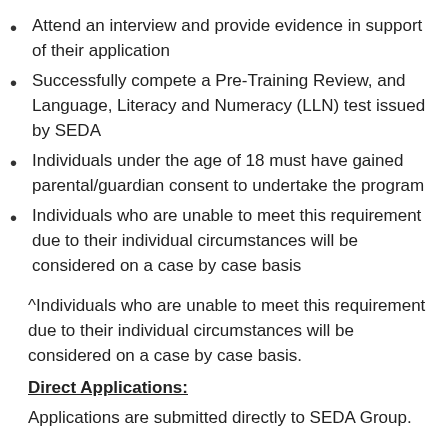Attend an interview and provide evidence in support of their application
Successfully compete a Pre-Training Review, and Language, Literacy and Numeracy (LLN) test issued by SEDA
Individuals under the age of 18 must have gained parental/guardian consent to undertake the program
Individuals who are unable to meet this requirement due to their individual circumstances will be considered on a case by case basis
^Individuals who are unable to meet this requirement due to their individual circumstances will be considered on a case by case basis.
Direct Applications:
Applications are submitted directly to SEDA Group.